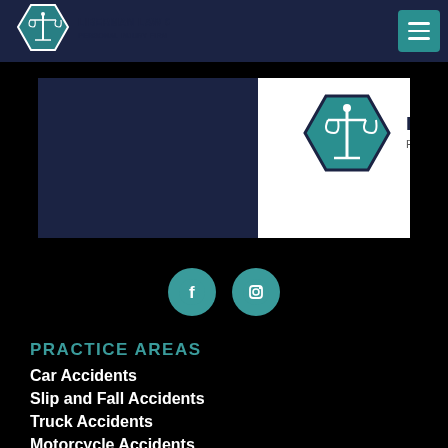[Figure (logo): Liberman Law Group Personal Injury Firm logo in navbar]
[Figure (logo): Liberman Law Group Personal Injury Firm banner logo with dark navy left side and white right side]
[Figure (other): Social media icons: Facebook and Instagram circular teal buttons]
PRACTICE AREAS
Car Accidents
Slip and Fall Accidents
Truck Accidents
Motorcycle Accidents
Pedestrian Accidents